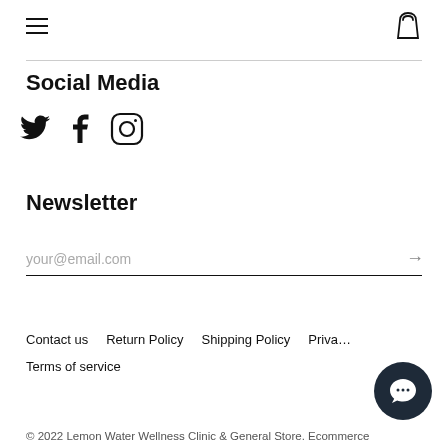[hamburger menu] [shopping bag icon]
Social Media
[Figure (illustration): Social media icons: Twitter bird, Facebook f, Instagram camera circle]
Newsletter
your@email.com [arrow submit button]
Contact us   Return Policy   Shipping Policy   Priva…
Terms of service
© 2022 Lemon Water Wellness Clinic & General Store. Ecommerce